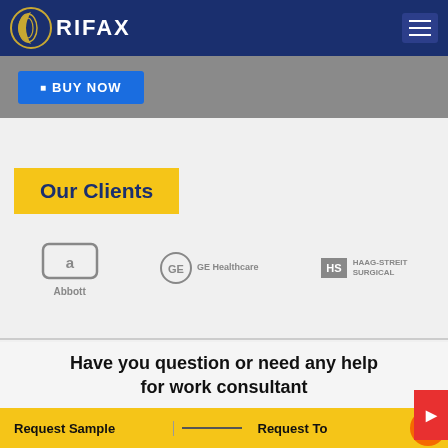CRIFAX
[Figure (illustration): BUY NOW button on grey banner strip]
Our Clients
[Figure (logo): Abbott logo]
[Figure (logo): GE Healthcare logo]
[Figure (logo): Haag-Streit Surgical logo]
Have you question or need any help for work consultant
Request Sample   Request To   CONTACT US